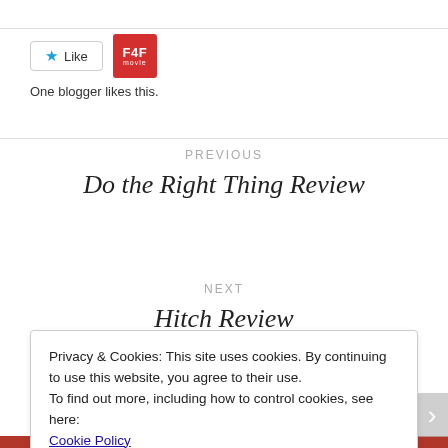[Figure (other): Like button with star icon and F4F movie logo badge]
One blogger likes this.
PREVIOUS
Do the Right Thing Review
NEXT
Hitch Review
Privacy & Cookies: This site uses cookies. By continuing to use this website, you agree to their use.
To find out more, including how to control cookies, see here: Cookie Policy
Close and accept